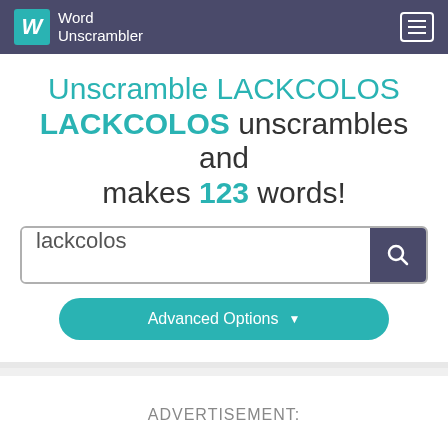Word Unscrambler
Unscramble LACKCOLOS LACKCOLOS unscrambles and makes 123 words!
lackcolos
Advanced Options
ADVERTISEMENT: